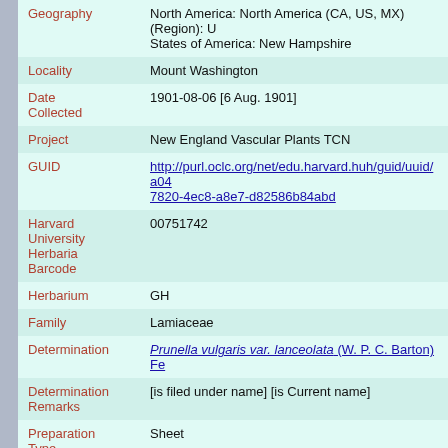| Field | Value |
| --- | --- |
| Geography | North America: North America (CA, US, MX) (Region): United States of America: New Hampshire |
| Locality | Mount Washington |
| Date Collected | 1901-08-06 [6 Aug. 1901] |
| Project | New England Vascular Plants TCN |
| GUID | http://purl.oclc.org/net/edu.harvard.huh/guid/uuid/a04...7820-4ec8-a8e7-d82586b84abd |
| Harvard University Herbaria Barcode | 00751742 |
| Herbarium | GH |
| Family | Lamiaceae |
| Determination | Prunella vulgaris var. lanceolata (W. P. C. Barton) Fe... |
| Determination Remarks | [is filed under name] [is Current name] |
| Preparation Type | Sheet |
| Preparation Method | Pressed |